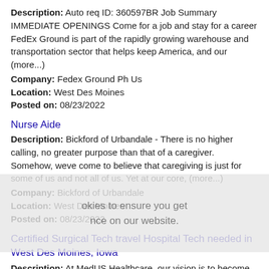Description: Auto req ID: 360597BR Job Summary IMMEDIATE OPENINGS Come for a job and stay for a career FedEx Ground is part of the rapidly growing warehouse and transportation sector that helps keep America, and our (more...)
Company: Fedex Ground Ph Us
Location: West Des Moines
Posted on: 08/23/2022
Nurse Aide
Description: Bickford of Urbandale - There is no higher calling, no greater purpose than that of a caregiver. Somehow, weve come to believe that caregiving is just for some of us and not all of us. Yet at our core, (more...)
Company: Bickford of Urbandale
Location: West Des Moines
Posted on: 08/23/2022
Certified Surgical Tech travel Hospital Tech needed in West Des Moines, Iowa
Description: At MedUS Healthcare, our vision is to become
Company: MedUS Healthcare
Location: West Des Moines
Posted on: 08/23/2022